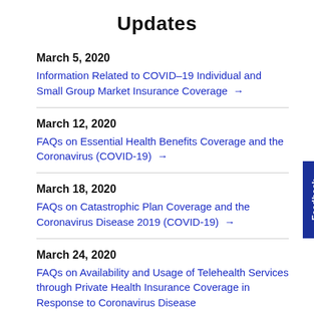Updates
March 5, 2020
Information Related to COVID-19 Individual and Small Group Market Insurance Coverage →
March 12, 2020
FAQs on Essential Health Benefits Coverage and the Coronavirus (COVID-19) →
March 18, 2020
FAQs on Catastrophic Plan Coverage and the Coronavirus Disease 2019 (COVID-19) →
March 24, 2020
FAQs on Availability and Usage of Telehealth Services through Private Health Insurance Coverage in Response to Coronavirus Disease